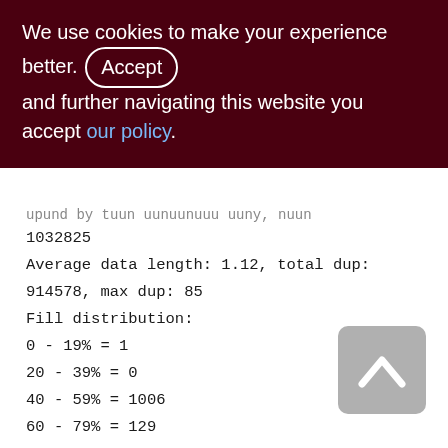We use cookies to make your experience better. By accepting and further navigating this website you accept our policy.
1032825
Average data length: 1.12, total dup: 914578, max dup: 85
Fill distribution:
0 - 19% = 1
20 - 39% = 0
40 - 59% = 1006
60 - 79% = 129
80 - 99% = 176
XQD_2100_3300 (262)
Primary pointer page: 661, Index root page: